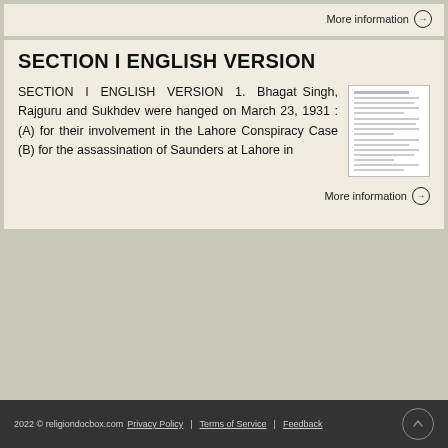More information →
SECTION I ENGLISH VERSION
SECTION I ENGLISH VERSION 1. Bhagat Singh, Rajguru and Sukhdev were hanged on March 23, 1931 : (A) for their involvement in the Lahore Conspiracy Case (B) for the assassination of Saunders at Lahore in
[Figure (other): Thumbnail image of a document page with text]
More information →
2022 © religiondocbox.com Privacy Policy | Terms of Service | Feedback